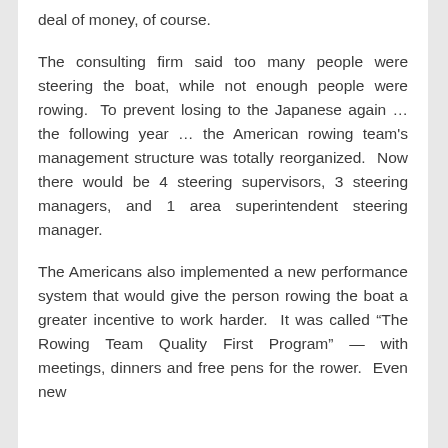deal of money, of course.
The consulting firm said too many people were steering the boat, while not enough people were rowing. To prevent losing to the Japanese again … the following year … the American rowing team's management structure was totally reorganized. Now there would be 4 steering supervisors, 3 steering managers, and 1 area superintendent steering manager.
The Americans also implemented a new performance system that would give the person rowing the boat a greater incentive to work harder. It was called “The Rowing Team Quality First Program” — with meetings, dinners and free pens for the rower. Even new